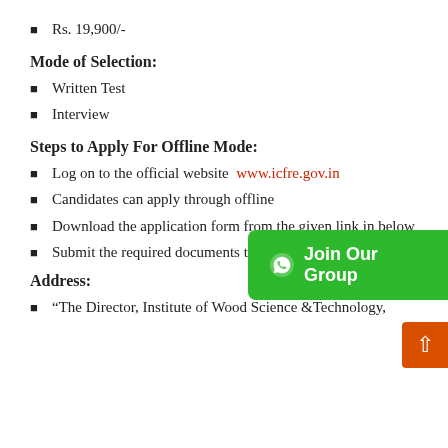Rs. 19,900/-
Mode of Selection:
Written Test
Interview
Steps to Apply For Offline Mode:
Log on to the official website  www.icfre.gov.in
Candidates can apply through offline
Download the application form from the given link in below
Submit the required documents to the following address.
Address:
“The Director, Institute of Wood Science &Technology,